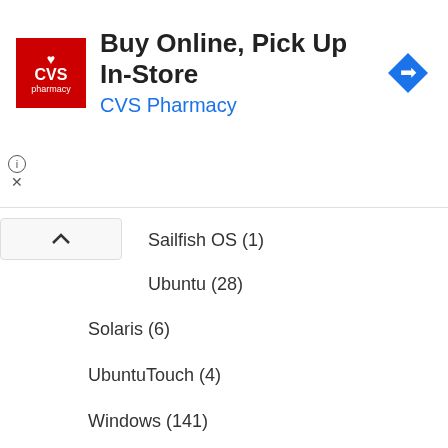[Figure (screenshot): CVS Pharmacy advertisement banner: Buy Online, Pick Up In-Store]
Sailfish OS (1)
Ubuntu (28)
Solaris (6)
UbuntuTouch (4)
Windows (141)
Windows IoT (4)
PBW (2)
Web (24)
jQuery Mobile (2)